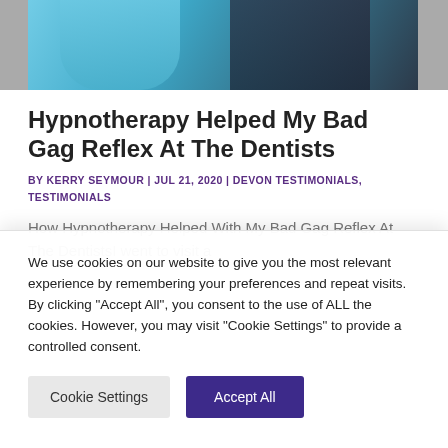[Figure (photo): Top portion of a photo showing a person with teal/blue clothing and dark hair with highlights, cropped at the top of the page]
Hypnotherapy Helped My Bad Gag Reflex At The Dentists
BY KERRY SEYMOUR | JUL 21, 2020 | DEVON TESTIMONIALS, TESTIMONIALS
How Hypnotherapy Helped With My Bad Gag Reflex At The DentistsI went to visit a
We use cookies on our website to give you the most relevant experience by remembering your preferences and repeat visits. By clicking "Accept All", you consent to the use of ALL the cookies. However, you may visit "Cookie Settings" to provide a controlled consent.